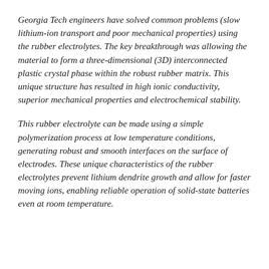Georgia Tech engineers have solved common problems (slow lithium-ion transport and poor mechanical properties) using the rubber electrolytes. The key breakthrough was allowing the material to form a three-dimensional (3D) interconnected plastic crystal phase within the robust rubber matrix. This unique structure has resulted in high ionic conductivity, superior mechanical properties and electrochemical stability.
This rubber electrolyte can be made using a simple polymerization process at low temperature conditions, generating robust and smooth interfaces on the surface of electrodes. These unique characteristics of the rubber electrolytes prevent lithium dendrite growth and allow for faster moving ions, enabling reliable operation of solid-state batteries even at room temperature.